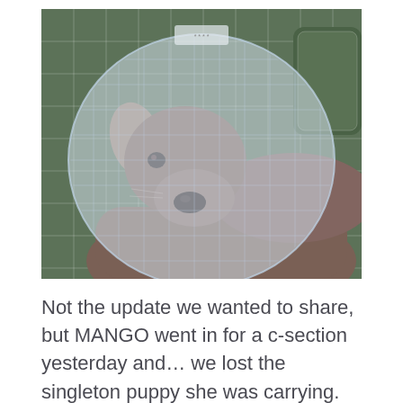[Figure (photo): A Weimaraner dog wearing a transparent plastic e-collar (cone of shame) lying on a green plaid/grid-patterned couch or bedding. The dog has a gray-brown coat, floppy ears, and is looking at the camera with a sad expression.]
Not the update we wanted to share, but MANGO went in for a c-section yesterday and... we lost the singleton puppy she was carrying.